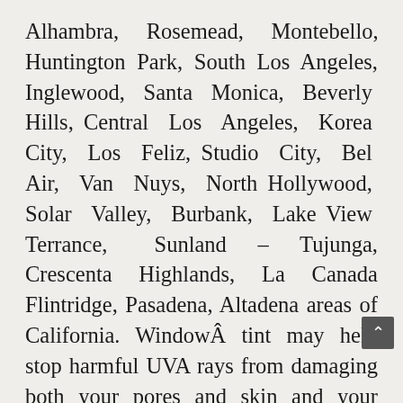Alhambra, Rosemead, Montebello, Huntington Park, South Los Angeles, Inglewood, Santa Monica, Beverly Hills, Central Los Angeles, Korea City, Los Feliz, Studio City, Bel Air, Van Nuys, North Hollywood, Solar Valley, Burbank, Lake View Terrance, Sunland – Tujunga, Crescenta Highlands, La Canada Flintridge, Pasadena, Altadena areas of California. WindowÂ tint may help stop harmful UVA rays from damaging both your pores and skin and your belongings. Lastly, as with automotive tinting, you may get pleasure from less glare and better privateness. All three models of tint blocks 99 p.c of UV rays, is